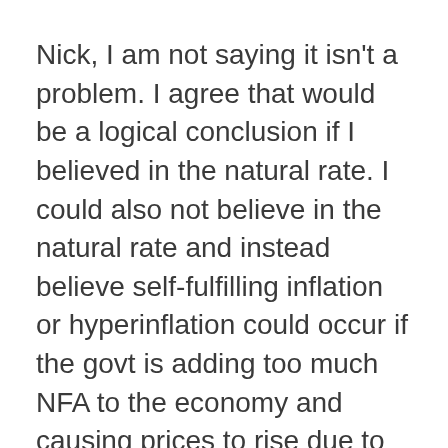Nick, I am not saying it isn't a problem. I agree that would be a logical conclusion if I believed in the natural rate. I could also not believe in the natural rate and instead believe self-fulfilling inflation or hyperinflation could occur if the govt is adding too much NFA to the economy and causing prices to rise due to AD, independent of interest rates. But in either case, it still doesn't show why bonds will not be sold as per the Fed's policy... until the economy ceases to exist. The govt may throw the economy into